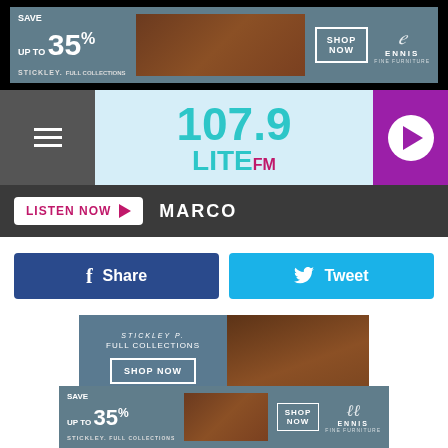[Figure (infographic): Top advertisement banner: SAVE UP TO 35% STICKLEY FULL COLLECTIONS SHOP NOW ENNIS FINE FURNITURE with furniture photo]
[Figure (infographic): 107.9 LITE FM radio station header with hamburger menu icon on left and play button on right on purple background]
[Figure (infographic): Dark bar with LISTEN NOW button (pink text, white background) and MARCO text in white]
[Figure (infographic): Share and Tweet social media buttons row]
[Figure (photo): Ennis Fine Furniture advertisement with STICKLEY FULL COLLECTIONS SHOP NOW text on blue-grey background with furniture photo on right]
[Figure (infographic): Bottom advertisement: SAVE UP TO 35% STICKLEY FULL COLLECTIONS SHOP NOW ENNIS FINE FURNITURE]